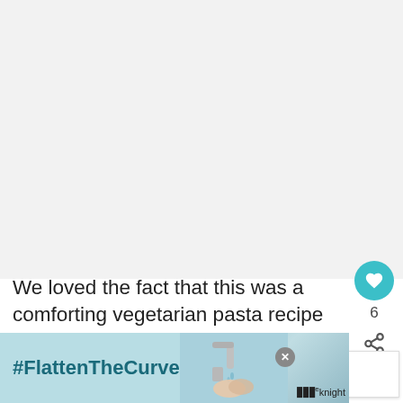[Figure (photo): Large light gray image area at top of the page, likely a food/pasta photo that is mostly white/blank in this view]
We loved the fact that this was a comforting vegetarian pasta recipe but if you're something a little meatier, you need to try my
[Figure (infographic): WHAT'S NEXT arrow label with small food image thumbnail and text 'Easy Eggplant Flatbread...' — a 'what's next' content recommendation widget]
[Figure (infographic): #FlattenTheCurve banner advertisement at the bottom with hand-washing imagery and a dark blue knight logo on the right side. Contains close (X) button.]